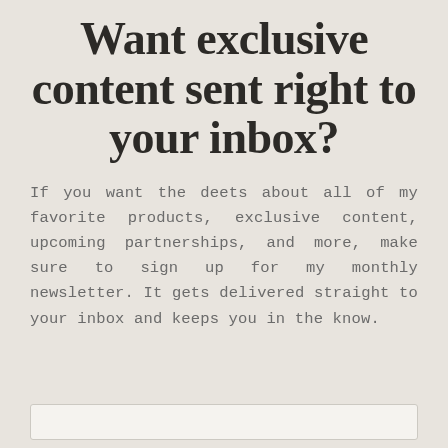Want exclusive content sent right to your inbox?
If you want the deets about all of my favorite products, exclusive content, upcoming partnerships, and more, make sure to sign up for my monthly newsletter. It gets delivered straight to your inbox and keeps you in the know.